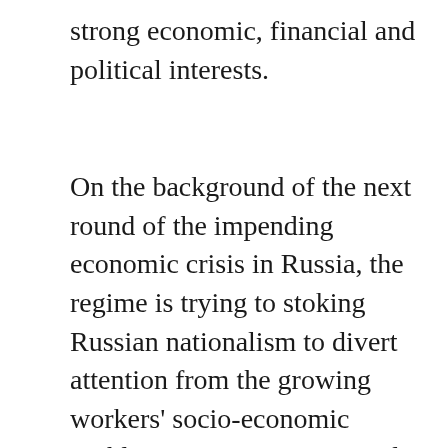strong economic, financial and political interests.
On the background of the next round of the impending economic crisis in Russia, the regime is trying to stoking Russian nationalism to divert attention from the growing workers' socio-economic problems: poverty wages and pensions, dismantling of available health care, education and other social services. In the thunder of the nationalist and militant rhetoric it is